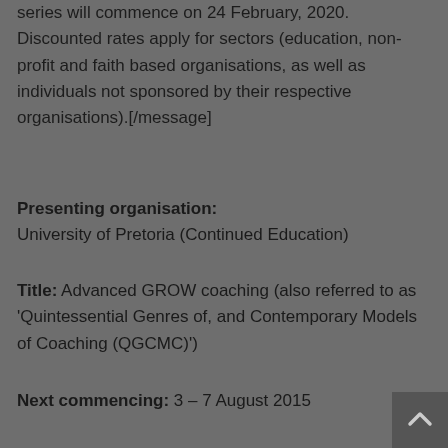series will commence on 24 February, 2020. Discounted rates apply for sectors (education, non-profit and faith based organisations, as well as individuals not sponsored by their respective organisations).[/message]
Presenting organisation: University of Pretoria (Continued Education)
Title: Advanced GROW coaching (also referred to as 'Quintessential Genres of, and Contemporary Models of Coaching (QGCMC)')
Next commencing: 3 – 7 August 2015